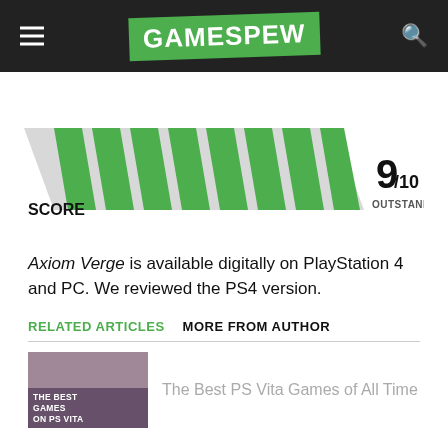GAMESPEW
[Figure (infographic): Score bar showing 9/10 OUTSTANDING with green diagonal bars filling 9 out of 10 segments on a gray parallelogram-shaped bar, with SCORE label on left]
Axiom Verge is available digitally on PlayStation 4 and PC. We reviewed the PS4 version.
RELATED ARTICLES   MORE FROM AUTHOR
The Best PS Vita Games of All Time